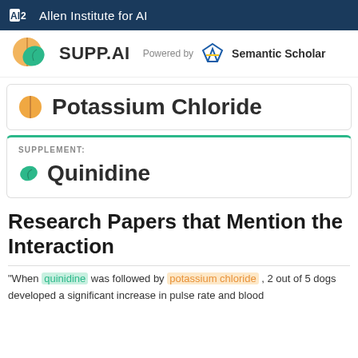AI2 Allen Institute for AI
[Figure (logo): SUPP.AI logo with supplement pill and leaf icons, Powered by Semantic Scholar]
Potassium Chloride
SUPPLEMENT:
Quinidine
Research Papers that Mention the Interaction
"When quinidine was followed by potassium chloride , 2 out of 5 dogs developed a significant increase in pulse rate and blood